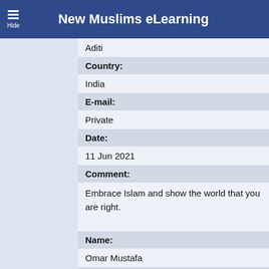New Muslims eLearning
Aditi
Country:
India
E-mail:
Private
Date:
11 Jun 2021
Comment:
Embrace Islam and show the world that you are right.
Name:
Omar Mustafa
Country:
Australia
E-mail:
Private